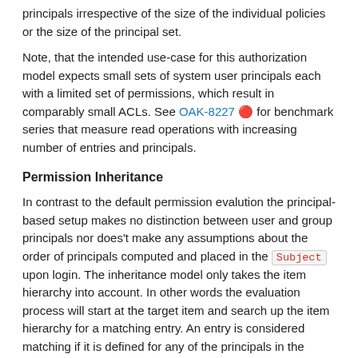principals irrespective of the size of the individual policies or the size of the principal set.
Note, that the intended use-case for this authorization model expects small sets of system user principals each with a limited set of permissions, which result in comparably small ACLs. See OAK-8227 🔴 for benchmark series that measure read operations with increasing number of entries and principals.
Permission Inheritance
In contrast to the default permission evalution the principal-based setup makes no distinction between user and group principals nor does't make any assumptions about the order of principals computed and placed in the Subject upon login. The inheritance model only takes the item hierarchy into account. In other words the evaluation process will start at the target item and search up the item hierarchy for a matching entry. An entry is considered matching if it is defined for any of the principals in the given set, applies to the target item and grants the specified permissions.
Evaluation Shortcut
As soon as an entry matches the target item and grants the